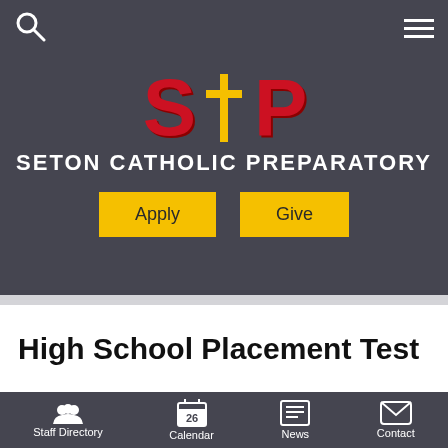[Figure (logo): Seton Catholic Preparatory school logo with SCP letters in red with gold cross, white school name text, and two yellow buttons for Apply and Give on dark gray background]
High School Placement Test
Staff Directory  Calendar  News  Contact